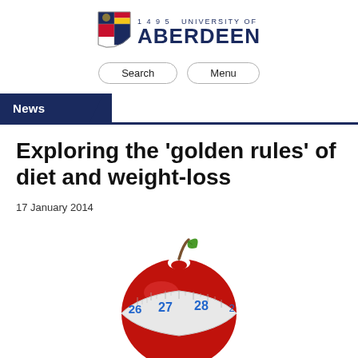1495 UNIVERSITY OF ABERDEEN
Search   Menu
News
Exploring the 'golden rules' of diet and weight-loss
17 January 2014
[Figure (photo): A red apple wrapped with a measuring tape showing numbers 26, 27, 28, on a white background]